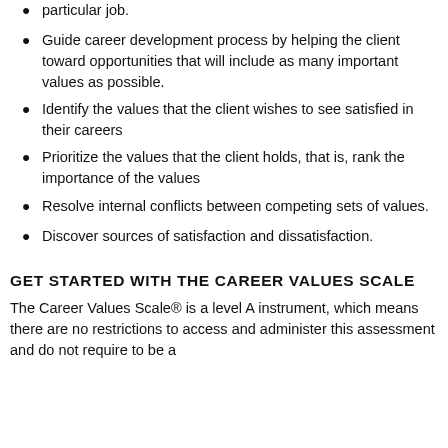particular job.
Guide career development process by helping the client toward opportunities that will include as many important values as possible.
Identify the values that the client wishes to see satisfied in their careers
Prioritize the values that the client holds, that is, rank the importance of the values
Resolve internal conflicts between competing sets of values.
Discover sources of satisfaction and dissatisfaction.
GET STARTED WITH THE CAREER VALUES SCALE
The Career Values Scale® is a level A instrument, which means there are no restrictions to access and administer this assessment and do not require to be a